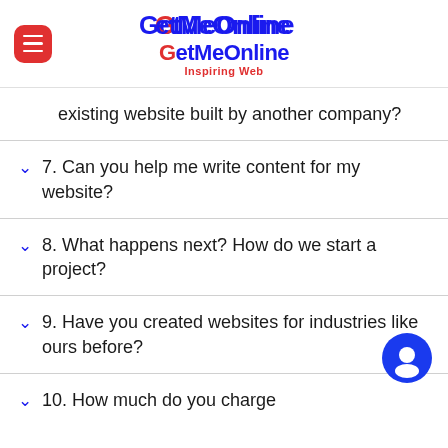GetMeOnline – Inspiring Web
existing website built by another company?
7. Can you help me write content for my website?
8. What happens next? How do we start a project?
9. Have you created websites for industries like ours before?
10. How much do you charge